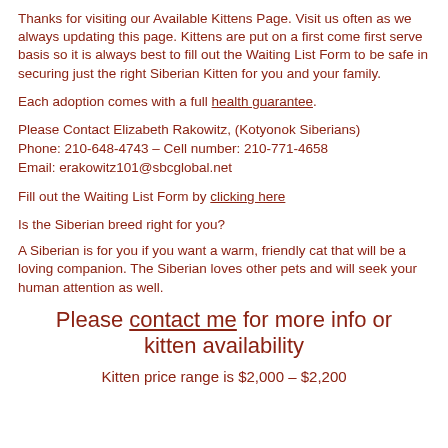Thanks for visiting our Available Kittens Page. Visit us often as we always updating this page. Kittens are put on a first come first serve basis so it is always best to fill out the Waiting List Form to be safe in securing just the right Siberian Kitten for you and your family.
Each adoption comes with a full health guarantee.
Please Contact Elizabeth Rakowitz, (Kotyonok Siberians) Phone: 210-648-4743 – Cell number: 210-771-4658 Email: erakowitz101@sbcglobal.net
Fill out the Waiting List Form by clicking here
Is the Siberian breed right for you?
A Siberian is for you if you want a warm, friendly cat that will be a loving companion. The Siberian loves other pets and will seek your human attention as well.
Please contact me for more info or kitten availability
Kitten price range is $2,000 – $2,200